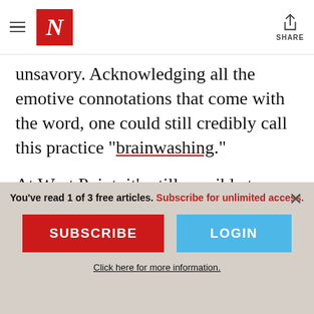Newsweek — N logo and navigation header with Share button
unsavory. Acknowledging all the emotive connotations that come with the word, one could still credibly call this practice “brainwashing.”
At West Point, it’s still possible to believe that we are fighting in the interests of the Afghan people when, for 16 years, a coalition of the most powerful armies on Earth led by the
You’ve read 1 of 3 free articles. Subscribe for unlimited access.
SUBSCRIBE
LOGIN
Click here for more information.